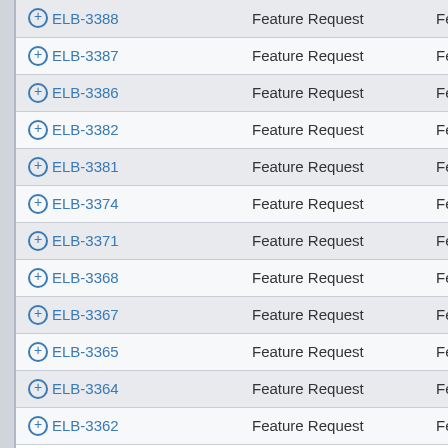| Issue | Type | Type (cont.) |
| --- | --- | --- |
| ⊕ ELB-3388 | Feature Request | Feature S |
| ⊕ ELB-3387 | Feature Request | Feature S |
| ⊕ ELB-3386 | Feature Request | Feature S |
| ⊕ ELB-3382 | Feature Request | Feature S |
| ⊕ ELB-3381 | Feature Request | Feature S |
| ⊕ ELB-3374 | Feature Request | Feature S |
| ⊕ ELB-3371 | Feature Request | Feature S |
| ⊕ ELB-3368 | Feature Request | Feature S |
| ⊕ ELB-3367 | Feature Request | Feature S |
| ⊕ ELB-3365 | Feature Request | Feature S |
| ⊕ ELB-3364 | Feature Request | Feature S |
| ⊕ ELB-3362 | Feature Request | Feature S |